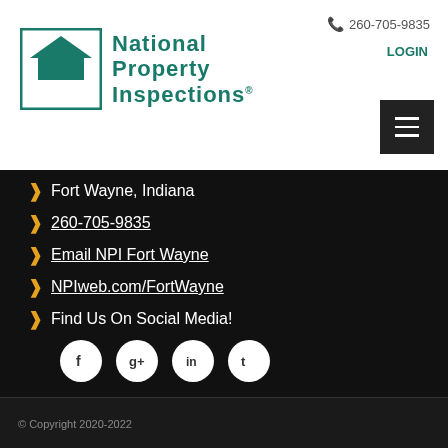[Figure (logo): National Property Inspections logo with NPI box and teal text]
260-705-9835
LOGIN
Fort Wayne, Indiana
260-705-9835
Email NPI Fort Wayne
NPIweb.com/FortWayne
Find Us On Social Media!
[Figure (other): Social media icons: Facebook, Google+, LinkedIn, Twitter]
© Copyright 2020-2022